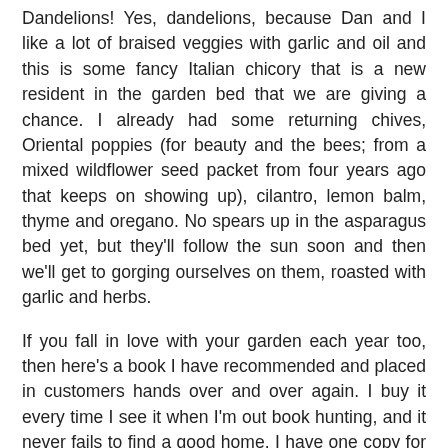Dandelions! Yes, dandelions, because Dan and I like a lot of braised veggies with garlic and oil and this is some fancy Italian chicory that is a new resident in the garden bed that we are giving a chance. I already had some returning chives, Oriental poppies (for beauty and the bees; from a mixed wildflower seed packet from four years ago that keeps on showing up), cilantro, lemon balm, thyme and oregano. No spears up in the asparagus bed yet, but they'll follow the sun soon and then we'll get to gorging ourselves on them, roasted with garlic and herbs.
If you fall in love with your garden each year too, then here's a book I have recommended and placed in customers hands over and over again. I buy it every time I see it when I'm out book hunting, and it never fails to find a good home. I have one copy for sale at Old Saratoga Books at present, but you could also probably find a copy at your local library too if you want to "test drive" it first.
This book gem is:
Cooking from the Garden, by Rosalind Creasy (San